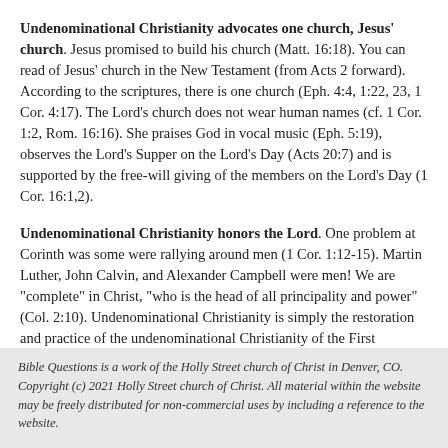Undenominational Christianity advocates one church, Jesus' church. Jesus promised to build his church (Matt. 16:18). You can read of Jesus' church in the New Testament (from Acts 2 forward). According to the scriptures, there is one church (Eph. 4:4, 1:22, 23, 1 Cor. 4:17). The Lord's church does not wear human names (cf. 1 Cor. 1:2, Rom. 16:16). She praises God in vocal music (Eph. 5:19), observes the Lord's Supper on the Lord's Day (Acts 20:7) and is supported by the free-will giving of the members on the Lord's Day (1 Cor. 16:1,2).
Undenominational Christianity honors the Lord. One problem at Corinth was some were rallying around men (1 Cor. 1:12-15). Martin Luther, John Calvin, and Alexander Campbell were men! We are "complete" in Christ, "who is the head of all principality and power" (Col. 2:10). Undenominational Christianity is simply the restoration and practice of the undenominational Christianity of the First Century.
Bible Questions is a work of the Holly Street church of Christ in Denver, CO. Copyright (c) 2021 Holly Street church of Christ. All material within the website may be freely distributed for non-commercial uses by including a reference to the website.